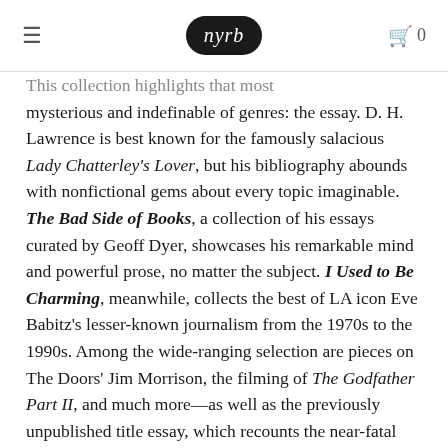nyrb
This collection highlights that most mysterious and indefinable of genres: the essay. D. H. Lawrence is best known for the famously salacious Lady Chatterley's Lover, but his bibliography abounds with nonfictional gems about every topic imaginable. The Bad Side of Books, a collection of his essays curated by Geoff Dyer, showcases his remarkable mind and powerful prose, no matter the subject. I Used to Be Charming, meanwhile, collects the best of LA icon Eve Babitz's lesser-known journalism from the 1970s to the 1990s. Among the wide-ranging selection are pieces on The Doors' Jim Morrison, the filming of The Godfather Part II, and much more—as well as the previously unpublished title essay, which recounts the near-fatal accident she suffered in 1996.